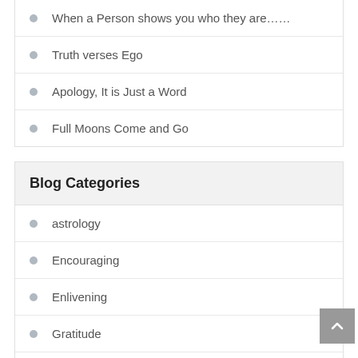When a Person shows you who they are……
Truth verses Ego
Apology, It is Just a Word
Full Moons Come and Go
Blog Categories
astrology
Encouraging
Enlivening
Gratitude
Healing